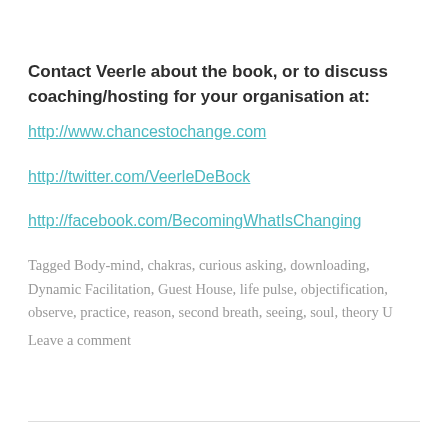Contact Veerle about the book, or to discuss coaching/hosting for your organisation at:
http://www.chancestochange.com
http://twitter.com/VeerleDeBock
http://facebook.com/BecomingWhatIsChanging
Tagged Body-mind, chakras, curious asking, downloading, Dynamic Facilitation, Guest House, life pulse, objectification, observe, practice, reason, second breath, seeing, soul, theory U
Leave a comment